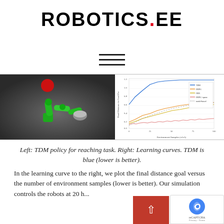ROBOTICS.EE
[Figure (other): Hamburger menu icon with three horizontal lines]
[Figure (other): Left: A robotic arm simulation scene with green robot arm and red target ball on dark background. Right: Learning curves plot showing final distance to goal vs environment samples, with multiple colored lines (TDM in blue, DDPG in orange, HER in yellow, DDPG+sparse and model-based), TDM (blue) is lowest.]
Left: TDM policy for reaching task. Right: Learning curves. TDM is blue (lower is better).
In the learning curve to the right, we plot the final distance goal versus the number of environment samples (lower is better). Our simulation controls the robots at 20 h...